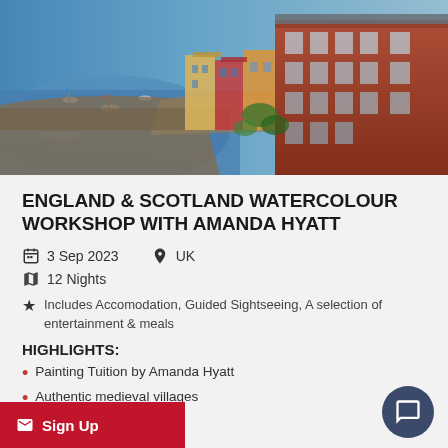[Figure (photo): Aerial view of a colorful coastal harbour town with boats on blue water and traditional stone/brick buildings, likely a UK seaside village.]
ENGLAND & SCOTLAND WATERCOLOUR WORKSHOP WITH AMANDA HYATT
3 Sep 2023   UK   12 Nights
Includes Accomodation, Guided Sightseeing, A selection of entertainment & meals
HIGHLIGHTS:
Painting Tuition by Amanda Hyatt
Authentic medieval villages
astle